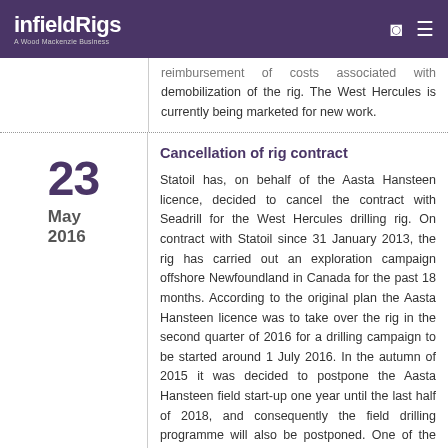infieldRigs — A Wood Mackenzie Business
reimbursement of costs associated with demobilization of the rig. The West Hercules is currently being marketed for new work.
23 May 2016
Cancellation of rig contract
Statoil has, on behalf of the Aasta Hansteen licence, decided to cancel the contract with Seadrill for the West Hercules drilling rig. On contract with Statoil since 31 January 2013, the rig has carried out an exploration campaign offshore Newfoundland in Canada for the past 18 months. According to the original plan the Aasta Hansteen licence was to take over the rig in the second quarter of 2016 for a drilling campaign to be started around 1 July 2016. In the autumn of 2015 it was decided to postpone the Aasta Hansteen field start-up one year until the last half of 2018, and consequently the field drilling programme will also be postponed. One of the reasons is that it is not preferable to complete the wells too early before production start-up. The contract for West